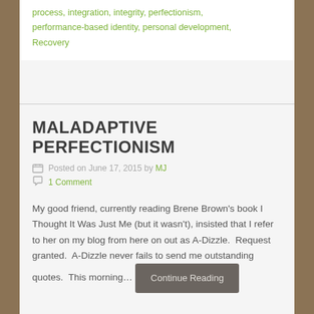process, integration, integrity, perfectionism, performance-based identity, personal development, Recovery
MALADAPTIVE PERFECTIONISM
Posted on June 17, 2015 by MJ
1 Comment
My good friend, currently reading Brene Brown's book I Thought It Was Just Me (but it wasn't), insisted that I refer to her on my blog from here on out as A-Dizzle.  Request granted.  A-Dizzle never fails to send me outstanding quotes.  This morning…
Continue Reading